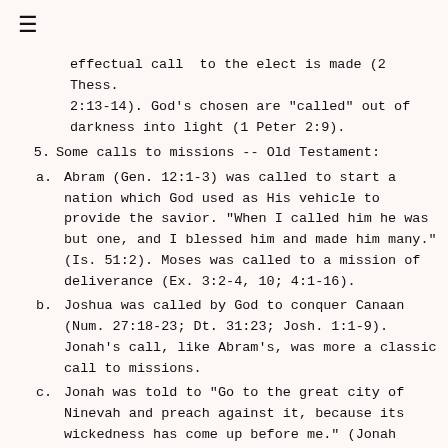≡
effectual call  to the elect is made (2 Thess. 2:13-14). God's chosen are "called" out of darkness into light (1 Peter 2:9).
5. Some calls to missions -- Old Testament:
a. Abram (Gen. 12:1-3) was called to start a nation which God used as His vehicle to provide the savior. "When I called him he was but one, and I blessed him and made him many." (Is. 51:2). Moses was called to a mission of deliverance (Ex. 3:2-4, 10; 4:1-16).
b. Joshua was called by God to conquer Canaan (Num. 27:18-23; Dt. 31:23; Josh. 1:1-9). Jonah's call, like Abram's, was more a classic call to missions.
c. Jonah was told to "Go to the great city of Ninevah and preach against it, because its wickedness has come up before me." (Jonah 1:2). God and even Jonah foreknew